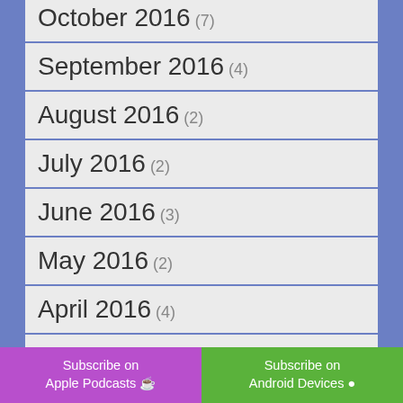October 2016 (7)
September 2016 (4)
August 2016 (2)
July 2016 (2)
June 2016 (3)
May 2016 (2)
April 2016 (4)
March 2016 (2)
January 2016 (1)
December 2015 (2)
November 2015 (4)
Subscribe on Apple Podcasts
Subscribe on Android Devices